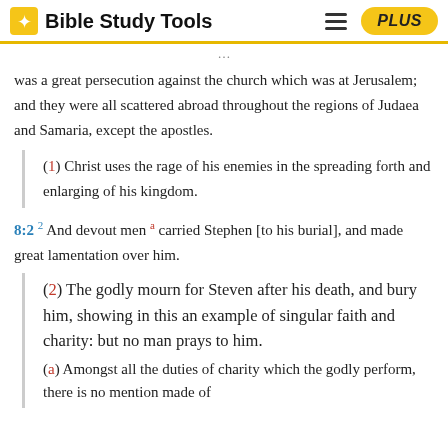Bible Study Tools
was a great persecution against the church which was at Jerusalem; and they were all scattered abroad throughout the regions of Judaea and Samaria, except the apostles.
(1) Christ uses the rage of his enemies in the spreading forth and enlarging of his kingdom.
8:2 2 And devout men a carried Stephen [to his burial], and made great lamentation over him.
(2) The godly mourn for Steven after his death, and bury him, showing in this an example of singular faith and charity: but no man prays to him.
(a) Amongst all the duties of charity which the godly perform, there is no mention made of